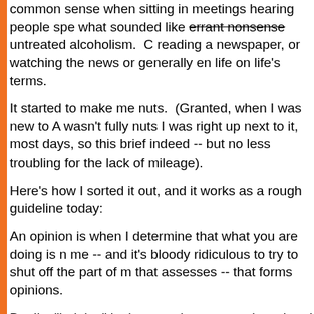common sense when sitting in meetings hearing people spe[aking] what sounded like errant nonsense untreated alcoholism. [reading a newspaper, or watching the news or generally en[joying] life on life's terms.
It started to make me nuts. (Granted, when I was new to A[A I] wasn't fully nuts I was right up next to it, most days, so this [was] brief indeed -- but no less troubling for the lack of mileage).
Here's how I sorted it out, and it works as a rough guideline [for me] today:
An opinion is when I determine that what you are doing is n[ot for] me -- and it's bloody ridiculous to try to shut off the part of m[y mind] that assesses -- that forms opinions.
But I'm "judging" in the negative connotation when I decide [that what] you are doing is not right for you.
Yet it is certainly not "judging" to identify disease as sickne[ss. A friend] of mine's landlord is a crystal meth addict. Obviously, ident[ifying that] is not judging him.